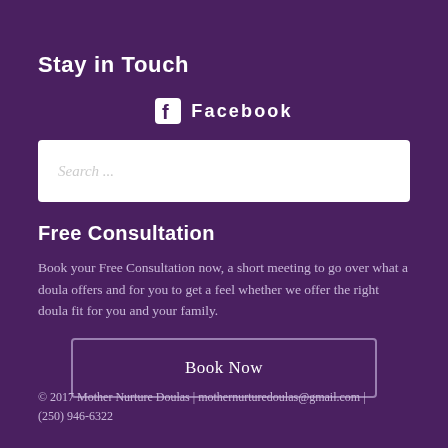Stay in Touch
Facebook
[Figure (other): Search input field with placeholder text 'Search ...']
Free Consultation
Book your Free Consultation now, a short meeting to go over what a doula offers and for you to get a feel whether we offer the right doula fit for you and your family.
Book Now
© 2017 Mother Nurture Doulas | mothernurturedoulas@gmail.com | (250) 946-6322